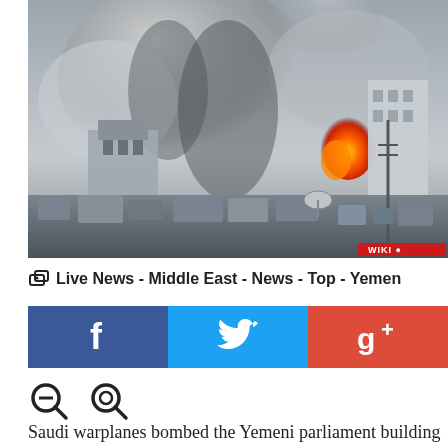[Figure (photo): Aerial/rooftop view of explosions, smoke plumes, and fire rising above buildings in a Middle Eastern city, with WIKI watermark in bottom right corner]
Live News - Middle East - News - Top - Yemen
[Figure (infographic): Social media share buttons: Facebook (blue), Twitter (light blue), Google+ (red)]
[Figure (other): Two zoom/magnify icons (zoom out and zoom in)]
Saudi warplanes bombed the Yemeni parliament building and